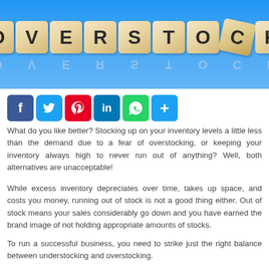[Figure (photo): Wooden letter blocks spelling OVERSTOCK on a blue background, with a reflection below showing reversed letters]
[Figure (infographic): Social media share buttons: Facebook, Twitter, Pinterest, LinkedIn, WhatsApp, and a plus/more button]
What do you like better? Stocking up on your inventory levels a little less than the demand due to a fear of overstocking, or keeping your inventory always high to never run out of anything? Well, both alternatives are unacceptable!
While excess inventory depreciates over time, takes up space, and costs you money, running out of stock is not a good thing either. Out of stock means your sales considerably go down and you have earned the brand image of not holding appropriate amounts of stocks.
To run a successful business, you need to strike just the right balance between understocking and overstocking.